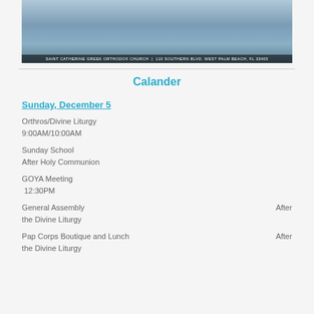[Figure (photo): Photo of boats at a dock with people, with caption bar at bottom reading: SAINT CATHERINE GREEK ORTHODOX CHURCH | 110 SOUTHERN BLVD. WEST PALM BEACH, FL 33405]
Calander
Sunday, December 5
Orthros/Divine Liturgy
9:00AM/10:00AM
Sunday School
After Holy Communion
GOYA Meeting
12:30PM
General Assembly  After the Divine Liturgy
Pap Corps Boutique and Lunch  After the Divine Liturgy